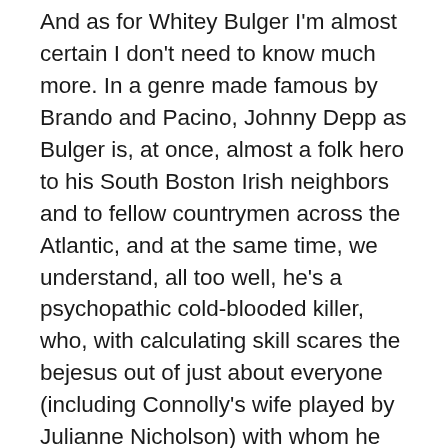And as for Whitey Bulger I'm almost certain I don't need to know much more. In a genre made famous by Brando and Pacino, Johnny Depp as Bulger is, at once, almost a folk hero to his South Boston Irish neighbors and to fellow countrymen across the Atlantic, and at the same time, we understand, all too well, he's a psychopathic cold-blooded killer, who, with calculating skill scares the bejesus out of just about everyone (including Connolly's wife played by Julianne Nicholson) with whom he comes into contact. I was in Ireland celebrating my 50th birthday 15 years ago and on the golf course in Lahinch in September 2000. My caddie, whose name I forget, asked if I'd read Black Mass, which had been published only a few months before and which, apparently, had sold very well in Ireland. I said I hadn't but promised I would, and did. That caddie's comment about Whitey Bulger I do remember: